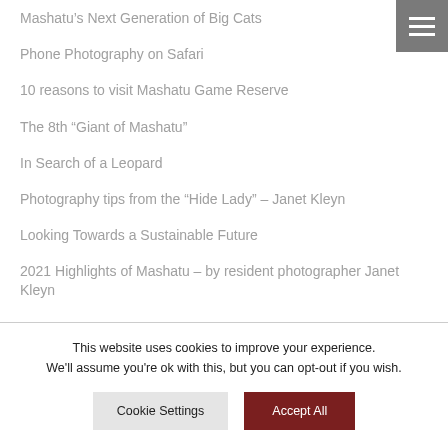Mashatu's Next Generation of Big Cats
Phone Photography on Safari
10 reasons to visit Mashatu Game Reserve
The 8th “Giant of Mashatu”
In Search of a Leopard
Photography tips from the “Hide Lady” – Janet Kleyn
Looking Towards a Sustainable Future
2021 Highlights of Mashatu – by resident photographer Janet Kleyn
This website uses cookies to improve your experience. We'll assume you're ok with this, but you can opt-out if you wish.
Cookie Settings | Accept All